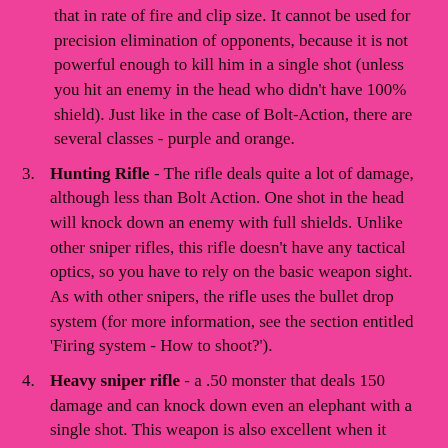that in rate of fire and clip size. It cannot be used for precision elimination of opponents, because it is not powerful enough to kill him in a single shot (unless you hit an enemy in the head who didn't have 100% shield). Just like in the case of Bolt-Action, there are several classes - purple and orange.
Hunting Rifle - The rifle deals quite a lot of damage, although less than Bolt Action. One shot in the head will knock down an enemy with full shields. Unlike other sniper rifles, this rifle doesn't have any tactical optics, so you have to rely on the basic weapon sight. As with other snipers, the rifle uses the bullet drop system (for more information, see the section entitled 'Firing system - How to shoot?').
Heavy sniper rifle - a .50 monster that deals 150 damage and can knock down even an elephant with a single shot. This weapon is also excellent when it comes to destroying structures. A single hit will deal more than 1000 damage to buildings. A shot bullet also has much lower falling speed when compared to other sniper rifles.